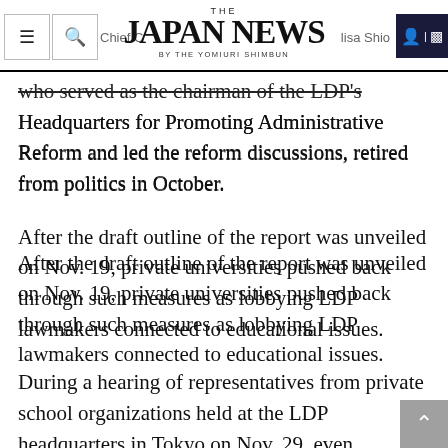THE JAPAN NEWS BY THE YOMIURI SHIMBUN
who served as the chairman of the LDP's
Headquarters for Promoting Administrative Reform and led the reform discussions, retired from politics in October.
After the draft outline of the report was unveiled on Nov. 19, private universities pushed back through such measures as lobbying LDP lawmakers connected to educational issues.
During a hearing of representatives from private school organizations held at the LDP headquarters in Tokyo on Nov. 29, even lawmakers pressed the education ministry that the draft should have been one that could be readily discussed.